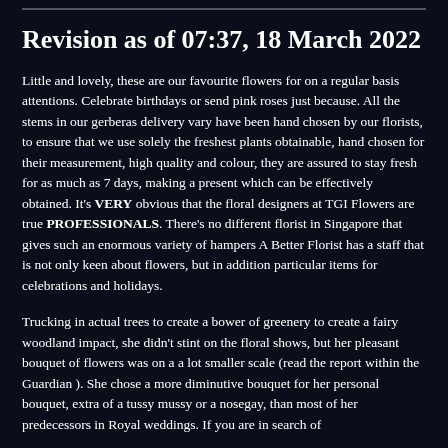Revision as of 07:37, 18 March 2022
Little and lovely, these are our favourite flowers for on a regular basis attentions. Celebrate birthdays or send pink roses just because. All the stems in our gerberas delivery vary have been hand chosen by our florists, to ensure that we use solely the freshest plants obtainable, hand chosen for their measurement, high quality and colour, they are assured to stay fresh for as much as 7 days, making a present which can be effectively obtained. It's VERY obvious that the floral designers at TGI Flowers are true PROFESSIONALS. There's no different florist in Singapore that gives such an enormous variety of hampers A Better Florist has a staff that is not only keen about flowers, but in addition particular items for celebrations and holidays.
Trucking in actual trees to create a bower of greenery to create a fairy woodland impact, she didn't stint on the floral shows, but her pleasant bouquet of flowers was on a a lot smaller scale (read the report within the Guardian ). She chose a more diminutive bouquet for her personal bouquet, extra of a tussy mussy or a nosegay, than most of her predecessors in Royal weddings. If you are in search of